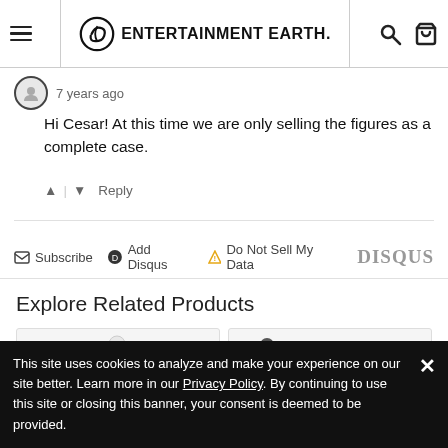Entertainment Earth navigation bar with hamburger menu, logo, search, and cart icons
7 years ago
Hi Cesar! At this time we are only selling the figures as a complete case.
↑ | ↓  Reply
Subscribe  Add Disqus  Do Not Sell My Data  DISQUS
Explore Related Products
[Figure (photo): Two action figures: a black-suited ninja and a white-clad snow trooper]
[Figure (photo): Two action figures: a female warrior and a male soldier in green]
This site uses cookies to analyze and make your experience on our site better. Learn more in our Privacy Policy. By continuing to use this site or closing this banner, your consent is deemed to be provided.